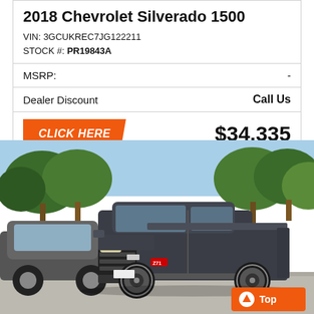2018 Chevrolet Silverado 1500
VIN: 3GCUKREC7JG122211
STOCK #: PR19843A
MSRP: -
Dealer Discount   Call Us
CLICK HERE   $34,335
[Figure (photo): 2018 Chevrolet Silverado 1500 dark blue/grey pickup truck parked in a dealership lot with trees in the background on a sunny day. A 'Top' button with an up arrow is overlaid in the bottom right corner.]